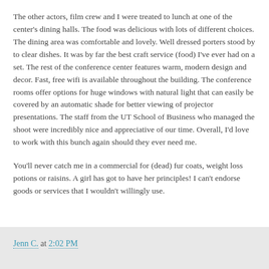The other actors, film crew and I were treated to lunch at one of the center's dining halls. The food was delicious with lots of different choices. The dining area was comfortable and lovely. Well dressed porters stood by to clear dishes. It was by far the best craft service (food) I've ever had on a set. The rest of the conference center features warm, modern design and decor. Fast, free wifi is available throughout the building. The conference rooms offer options for huge windows with natural light that can easily be covered by an automatic shade for better viewing of projector presentations. The staff from the UT School of Business who managed the shoot were incredibly nice and appreciative of our time. Overall, I'd love to work with this bunch again should they ever need me.
You'll never catch me in a commercial for (dead) fur coats, weight loss potions or raisins. A girl has got to have her principles! I can't endorse goods or services that I wouldn't willingly use.
Jenn C. at 2:02 PM